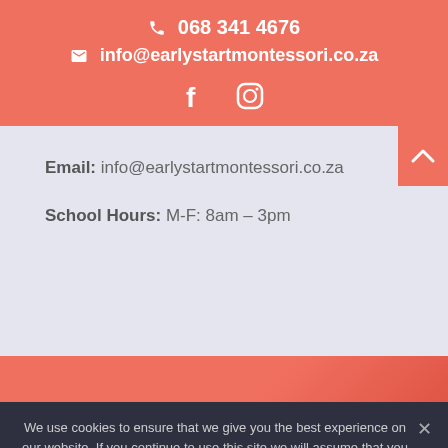📞 068 341 4676
✉ info@earlystartmontessori.co.za
[Figure (other): Facebook and Instagram social media icons in white on salmon/coral background]
Email: info@earlystartmontessori.co.za
School Hours: M-F: 8am – 3pm
We use cookies to ensure that we give you the best experience on our website. If you continue to use this site we will assume that you are happy with it.
Ok
Privacy policy